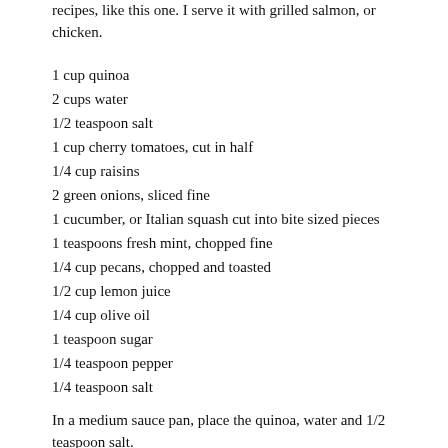recipes, like this one. I serve it with grilled salmon, or chicken.
1 cup quinoa
2 cups water
1/2 teaspoon salt
1 cup cherry tomatoes, cut in half
1/4 cup raisins
2 green onions, sliced fine
1 cucumber, or Italian squash cut into bite sized pieces
1 teaspoons fresh mint, chopped fine
1/4 cup pecans, chopped and toasted
1/2 cup lemon juice
1/4 cup olive oil
1 teaspoon sugar
1/4 teaspoon pepper
1/4 teaspoon salt
In a medium sauce pan, place the quinoa, water and 1/2 teaspoon salt.